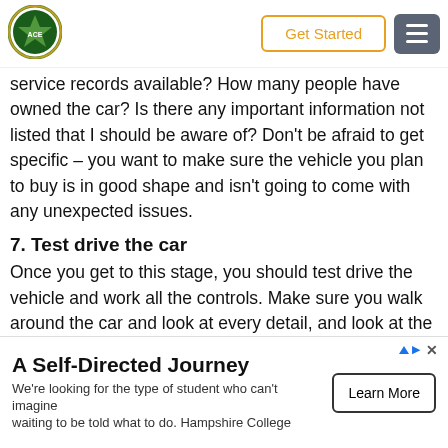ACEC logo | Get Started | Menu
service records available? How many people have owned the car? Is there any important information not listed that I should be aware of? Don’t be afraid to get specific – you want to make sure the vehicle you plan to buy is in good shape and isn’t going to come with any unexpected issues.
7. Test drive the car
Once you get to this stage, you should test drive the vehicle and work all the controls. Make sure you walk around the car and look at every detail, and look at the condition of the exterior, as well. Check that the brakes are responsive, that icle doesn’t make any funny noises when driving, and
A Self-Directed Journey
We’re looking for the type of student who can’t imagine waiting to be told what to do. Hampshire College | Learn More